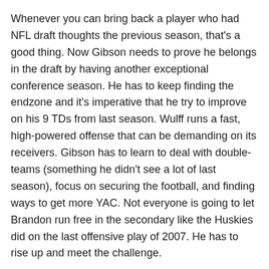Whenever you can bring back a player who had NFL draft thoughts the previous season, that's a good thing. Now Gibson needs to prove he belongs in the draft by having another exceptional conference season. He has to keep finding the endzone and it's imperative that he try to improve on his 9 TDs from last season. Wulff runs a fast, high-powered offense that can be demanding on its receivers. Gibson has to learn to deal with double-teams (something he didn't see a lot of last season), focus on securing the football, and finding ways to get more YAC. Not everyone is going to let Brandon run free in the secondary like the Huskies did on the last offensive play of 2007. He has to rise up and meet the challenge.
Nuss: My instincts also drew me towards the wide